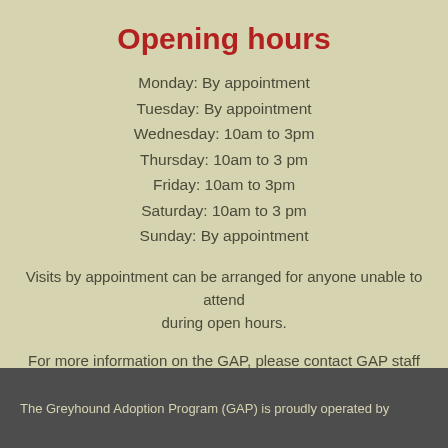Opening hours
Monday: By appointment
Tuesday: By appointment
Wednesday: 10am to 3pm
Thursday: 10am to 3 pm
Friday: 10am to 3pm
Saturday: 10am to 3 pm
Sunday: By appointment
Visits by appointment can be arranged for anyone unable to attend during open hours.
For more information on the GAP, please contact GAP staff by email at gapadmin@tasracing.com.au or by telephone on 0437 705 979
The Greyhound Adoption Program (GAP) is proudly operated by